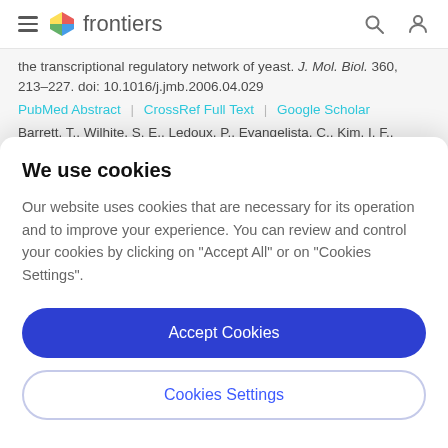frontiers
the transcriptional regulatory network of yeast. J. Mol. Biol. 360, 213–227. doi: 10.1016/j.jmb.2006.04.029
PubMed Abstract | CrossRef Full Text | Google Scholar
Barrett, T., Wilhite, S. E., Ledoux, P., Evangelista, C., Kim, I. F.,
We use cookies
Our website uses cookies that are necessary for its operation and to improve your experience. You can review and control your cookies by clicking on "Accept All" or on "Cookies Settings".
Accept Cookies
Cookies Settings